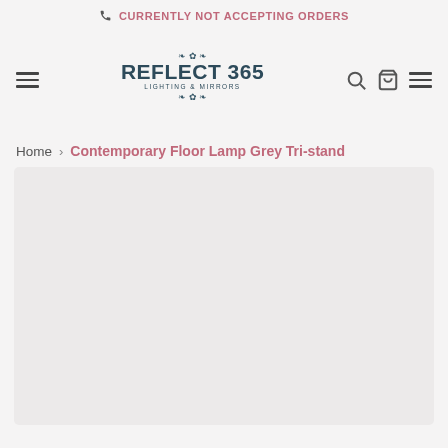📞 CURRENTLY NOT ACCEPTING ORDERS
[Figure (logo): Reflect 365 Lighting & Mirrors logo with decorative flourishes]
Home > Contemporary Floor Lamp Grey Tri-stand
[Figure (photo): Product image area for Contemporary Floor Lamp Grey Tri-stand (blank/loading)]